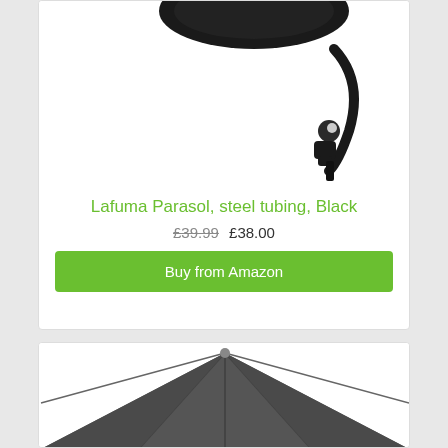[Figure (photo): Black Lafuma parasol with curved steel tubing and clamp mechanism photographed on white background]
Lafuma Parasol, steel tubing, Black
£39.99 £38.00
Buy from Amazon
[Figure (photo): Grey/dark parasol canopy top view photographed on white background, bottom card]